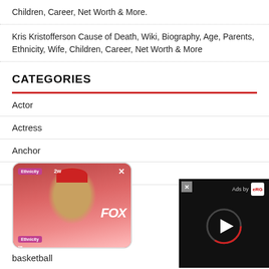Children, Career, Net Worth & More.
Kris Kristofferson Cause of Death, Wiki, Biography, Age, Parents, Ethnicity, Wife, Children, Career, Net Worth & More
CATEGORIES
Actor
Actress
Anchor
Artiest
[Figure (photo): Photo card of a man wearing a red beanie and colorful jacket in front of a FOX backdrop, with Ethnicity label and 2w timestamp overlay]
[Figure (other): Ad video player card with play button, 'Ads by' label and logo on black background]
basketball